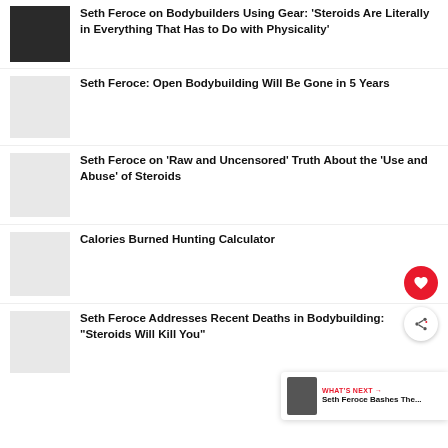[Figure (photo): Dark photo of a muscular bodybuilder posing]
Seth Feroce on Bodybuilders Using Gear: ‘Steroids Are Literally in Everything That Has to Do with Physicality’
[Figure (photo): Light gray placeholder thumbnail]
Seth Feroce: Open Bodybuilding Will Be Gone in 5 Years
[Figure (photo): Light gray placeholder thumbnail]
Seth Feroce on ‘Raw and Uncensored’ Truth About the ‘Use and Abuse’ of Steroids
[Figure (photo): Light gray placeholder thumbnail]
Calories Burned Hunting Calculator
[Figure (photo): Light gray placeholder thumbnail]
Seth Feroce Addresses Recent Deaths in Bodybuilding: “Steroids Will Kill You”